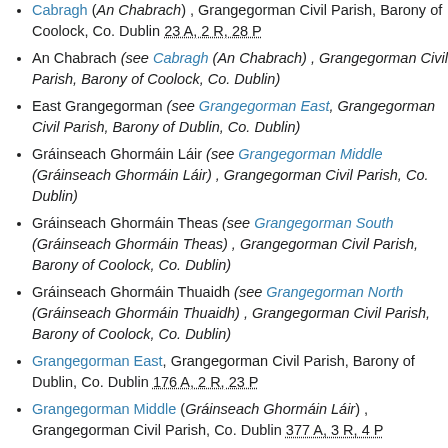Cabragh (An Chabrach) , Grangegorman Civil Parish, Barony of Coolock, Co. Dublin 23 A, 2 R, 28 P
An Chabrach (see Cabragh (An Chabrach) , Grangegorman Civil Parish, Barony of Coolock, Co. Dublin)
East Grangegorman (see Grangegorman East, Grangegorman Civil Parish, Barony of Dublin, Co. Dublin)
Gráinseach Ghormáin Láir (see Grangegorman Middle (Gráinseach Ghormáin Láir) , Grangegorman Civil Parish, Co. Dublin)
Gráinseach Ghormáin Theas (see Grangegorman South (Gráinseach Ghormáin Theas) , Grangegorman Civil Parish, Barony of Coolock, Co. Dublin)
Gráinseach Ghormáin Thuaidh (see Grangegorman North (Gráinseach Ghormáin Thuaidh) , Grangegorman Civil Parish, Barony of Coolock, Co. Dublin)
Grangegorman East, Grangegorman Civil Parish, Barony of Dublin, Co. Dublin 176 A, 2 R, 23 P
Grangegorman Middle (Gráinseach Ghormáin Láir) , Grangegorman Civil Parish, Co. Dublin 377 A, 3 R, 4 P
Grangegorman North (Gráinseach Ghormáin Thuaidh) , Grangegorman Civil Parish, Barony of Coolock, Co. Dublin 74 A, 3 R, 11 P
Grangegorman South (Gráinseach Ghormáin Theas) ,